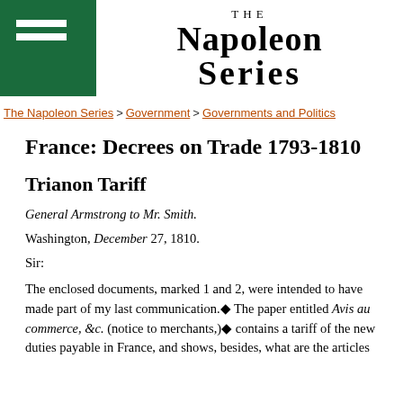[Figure (logo): The Napoleon Series website header with green box containing hamburger menu icon on the left, and 'THE NAPOLEON SERIES' text centered in large serif font]
The Napoleon Series > Government > Governments and Politics
France: Decrees on Trade 1793-1810
Trianon Tariff
General Armstrong to Mr. Smith.
Washington, December 27, 1810.
Sir:
The enclosed documents, marked 1 and 2, were intended to have made part of my last communication.◆ The paper entitled Avis au commerce, &c. (notice to merchants,)◆ contains a tariff of the new duties payable in France, and shows, besides, what are the articles